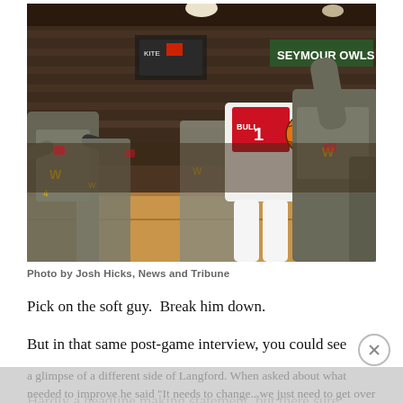[Figure (photo): Basketball game action photo showing a player in a red and white uniform (#1) driving to the basket surrounded by defenders in gray uniforms. The gym has packed stands in the background. Sign reading 'SEYMOUR OWLS' visible in upper right.]
Photo by Josh Hicks, News and Tribune
Pick on the soft guy.  Break him down.
But in that same post-game interview, you could see a glimpse of a different side of Langford.  When asked about what needed to improve he said "It needs to change...we just need to get over our pride"...
Hardly a headline making statement, but there sure...